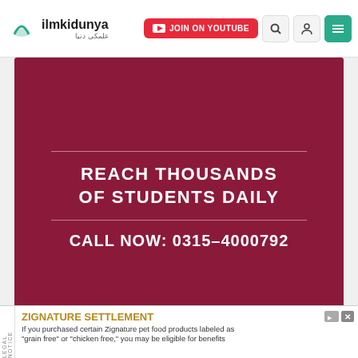ilmkidunya | JOIN ON YOUTUBE
[Figure (infographic): Dark red/maroon advertisement banner: 'REACH THOUSANDS OF STUDENTS DAILY | CALL NOW: 0315-4000792']
[Figure (infographic): Teal advertisement for Government Elementary College of Education: 'A revolution in teacher education' with checkboxes for INTERNATIONAL STANDARD CURRICULUM, HIGHLY QUALIFIED FACULTY]
ZIGNATURE SETTLEMENT — If you purchased certain Zignature pet food products labeled as "grain free" or "chicken free," you may be eligible for benefits